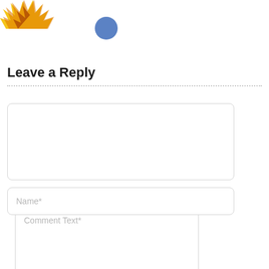[Figure (illustration): Partial illustration of a cartoon character (yellow/orange/red colors) visible in the top-left corner, cropped at the page edge]
[Figure (other): A solid blue circle element positioned in the upper portion of the page]
Leave a Reply
[Figure (other): Comment text input textarea with placeholder text 'Comment Text*' and a resize handle in the bottom-right corner]
[Figure (other): Name input field with placeholder text 'Name*']